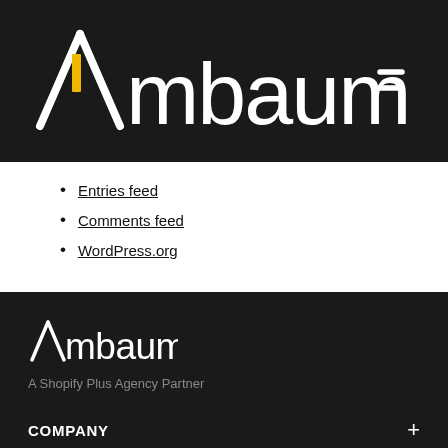[Figure (logo): Ambaum logo in white text with yellow accent on black background, large header version]
Entries feed
Comments feed
WordPress.org
[Figure (logo): Ambaum logo in white text on dark background, smaller footer version]
A Shopify Plus Agency Partner
COMPANY